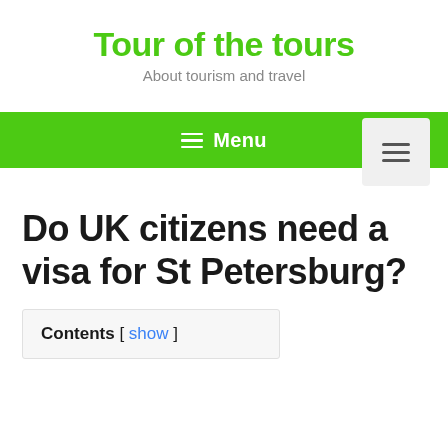Tour of the tours
About tourism and travel
Do UK citizens need a visa for St Petersburg?
Contents [ show ]